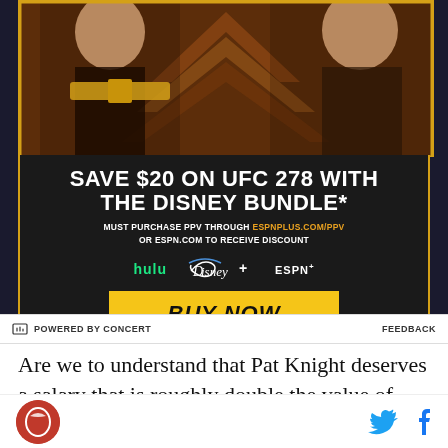[Figure (illustration): UFC 278 advertisement showing two fighters facing off with a gold championship belt, dark background with chevron patterns, Disney Bundle promotion offering $20 savings. Text: SAVE $20 ON UFC 278 WITH THE DISNEY BUNDLE* MUST PURCHASE PPV THROUGH ESPNPLUS.COM/PPV OR ESPN.COM TO RECEIVE DISCOUNT. Logos for Hulu, Disney+, ESPN+. BUY NOW button in yellow. Fine print disclaimer at bottom.]
POWERED BY CONCERT   FEEDBACK
Are we to understand that Pat Knight deserves a salary that is roughly double the value of Mike Leach in terms